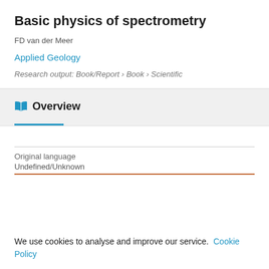Basic physics of spectrometry
FD van der Meer
Applied Geology
Research output: Book/Report › Book › Scientific
Overview
Original language
We use cookies to analyse and improve our service. Cookie Policy